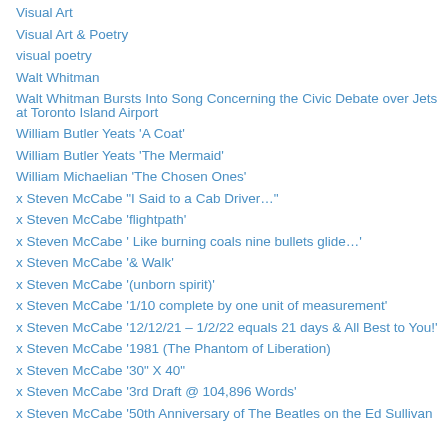Visual Art
Visual Art & Poetry
visual poetry
Walt Whitman
Walt Whitman Bursts Into Song Concerning the Civic Debate over Jets at Toronto Island Airport
William Butler Yeats 'A Coat'
William Butler Yeats 'The Mermaid'
William Michaelian 'The Chosen Ones'
x Steven McCabe "I Said to a Cab Driver…"
x Steven McCabe 'flightpath'
x Steven McCabe ' Like burning coals nine bullets glide…'
x Steven McCabe '& Walk'
x Steven McCabe '(unborn spirit)'
x Steven McCabe '1/10 complete by one unit of measurement'
x Steven McCabe '12/12/21 – 1/2/22 equals 21 days & All Best to You!'
x Steven McCabe '1981 (The Phantom of Liberation)
x Steven McCabe '30" X 40"
x Steven McCabe '3rd Draft @ 104,896 Words'
x Steven McCabe '50th Anniversary of The Beatles on the Ed Sullivan